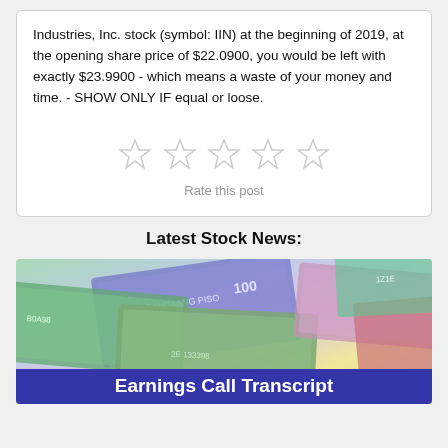Industries, Inc. stock (symbol: IIN) at the beginning of 2019, at the opening share price of $22.0900, you would be left with exactly $23.9900 - which means a waste of your money and time. - SHOW ONLY IF equal or loose.
[Figure (other): Five empty star rating icons for rating the post]
Rate this post
Latest Stock News:
[Figure (photo): Photo of various international currency banknotes fanned out, with a blue banner overlay at the bottom reading 'Earnings Call Transcript']